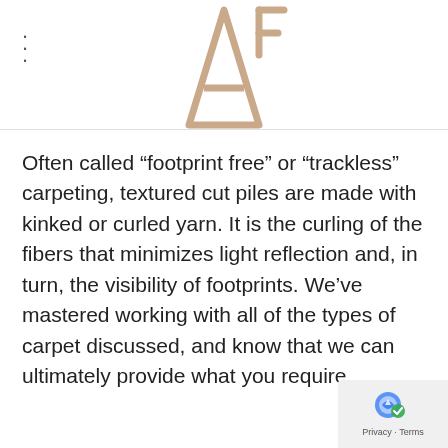[Figure (logo): AF monogram logo in beige/tan color, stylized triangular letterforms]
Often called “footprint free” or “trackless” carpeting, textured cut piles are made with kinked or curled yarn. It is the curling of the fibers that minimizes light reflection and, in turn, the visibility of footprints. We’ve mastered working with all of the types of carpet discussed, and know that we can ultimately provide what you require.